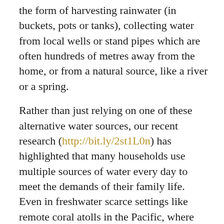the form of harvesting rainwater (in buckets, pots or tanks), collecting water from local wells or stand pipes which are often hundreds of metres away from the home, or from a natural source, like a river or a spring.
Rather than just relying on one of these alternative water sources, our recent research (http://bit.ly/2st1L0n) has highlighted that many households use multiple sources of water every day to meet the demands of their family life. Even in freshwater scarce settings like remote coral atolls in the Pacific, where there is no surface water, we found that families use between 2 and 5 sources of water every single day.
So why do households use multiple sources of water? Well, the simple answer is that they seek to make the most of a scarce and variable resource. To do this, households often prioritise the use of high quality